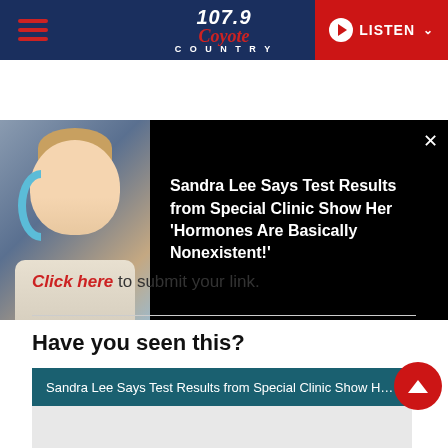[Figure (screenshot): 107.9 Coyote Country radio station website header navigation bar with hamburger menu, logo, and red LISTEN button]
[Figure (screenshot): Modal popup overlay on black background showing a woman with teal headband and an article headline about Sandra Lee]
Click here to submit your link.
Have you seen this?
Sandra Lee Says Test Results from Special Clinic Show Her '...